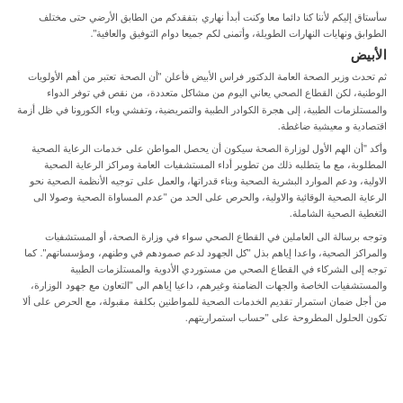سأستاق إليكم لأننا كنا دائما معا وكنت أبدأ نهاري بتفقدكم من الطابق الأرضي حتى مختلف الطوابق ونهايات النهارات الطويلة، وأتمنى لكم جميعا دوام التوفيق والعافية.
الأبيض
ثم تحدث وزير الصحة العامة الدكتور فراس الأبيض فأعلن "أن الصحة تعتبر من أهم الأولويات الوطنية، لكن القطاع الصحي يعاني اليوم من مشاكل متعددة، من نقص في توفر الدواء والمستلزمات الطبية، إلى هجرة الكوادر الطبية والتمريضية، وتفشي وباء الكورونا في ظل أزمة اقتصادية و معيشية ضاغطة.
وأكد "أن الهم الأول لوزارة الصحة سيكون أن يحصل المواطن على خدمات الرعاية الصحية المطلوبة، مع ما يتطلبه ذلك من تطوير أداء المستشفيات العامة ومراكز الرعاية الصحية الاولية، ودعم الموارد البشرية الصحية وبناء قدراتها، والعمل على توجيه الأنظمة الصحية نحو الرعاية الصحية الوقائية والاولية، والحرص على الحد من "عدم المساواة الصحية وصولا الى التغطية الصحية الشاملة.
وتوجه برسالة الى العاملين في القطاع الصحي سواء في وزارة الصحة، أو المستشفيات والمراكز الصحية، واعدا إياهم بذل "كل الجهود لدعم صمودهم في وطنهم، ومؤسساتهم". كما توجه إلى الشركاء في القطاع الصحي من مستوردي الأدوية والمستلزمات الطبية والمستشفيات الخاصة والجهات الضامنة وغيرهم، داعيا إياهم الى "التعاون مع جهود الوزارة، من أجل ضمان استمرار تقديم الخدمات الصحية للمواطنين بكلفة مقبولة، مع الحرص على ألا تكون الحلول المطروحة على "حساب استمراريتهم.